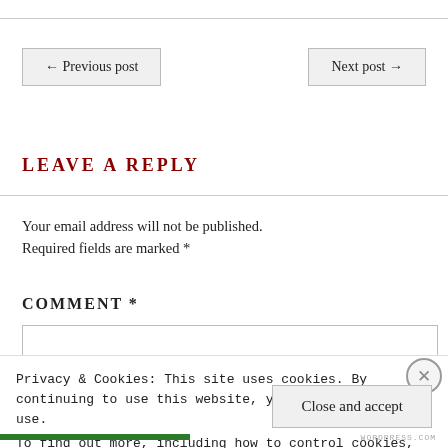← Previous post
Next post →
LEAVE A REPLY
Your email address will not be published. Required fields are marked *
COMMENT *
Privacy & Cookies: This site uses cookies. By continuing to use this website, you agree to their use. To find out more, including how to control cookies, see here: Cookie Policy
Close and accept